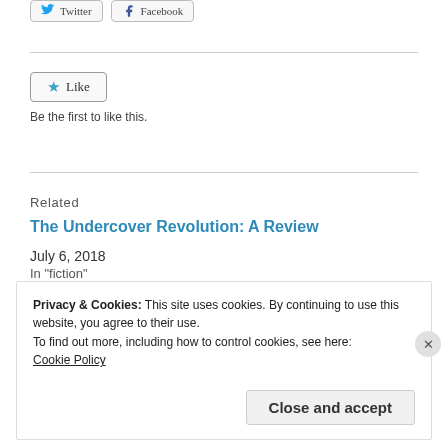[Figure (other): Twitter and Facebook social share buttons at top of page]
[Figure (other): Like button with star icon]
Be the first to like this.
Related
The Undercover Revolution: A Review
July 6, 2018
In "fiction"
Privacy & Cookies: This site uses cookies. By continuing to use this website, you agree to their use.
To find out more, including how to control cookies, see here:
Cookie Policy